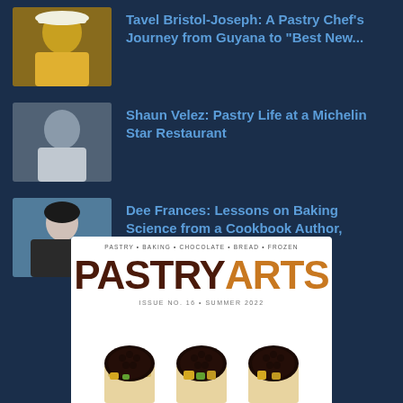[Figure (photo): Portrait photo of a man in yellow jacket and white hat, smiling]
Tavel Bristol-Joseph: A Pastry Chef's Journey from Guyana to "Best New..."
[Figure (photo): Portrait photo of Shaun Velez in chef whites]
Shaun Velez: Pastry Life at a Michelin Star Restaurant
[Figure (photo): Portrait photo of Dee Frances, woman with dark hair in black jacket]
Dee Frances: Lessons on Baking Science from a Cookbook Author, Obsessive...
[Figure (illustration): Pastry Arts magazine cover showing logo with PASTRY ARTS text, tagline PASTRY • BAKING • CHOCOLATE • BREAD • FROZEN, Issue No. 16 Summer 2022, with three chocolate-topped desserts]